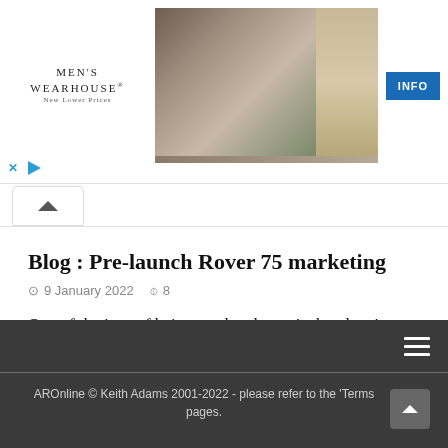[Figure (screenshot): Men's Wearhouse advertisement banner showing a couple in wedding attire and a man in a tan suit, with an INFO button and ad controls (X and play icons). Logo reads MEN'S WEARHOUSE New Lower Prices.]
Blog : Pre-launch Rover 75 marketing
9 January 2022  8
One of the joys of being stuck at home is that there's always a chance [...]
AROnline © Keith Adams 2001-2022 - please refer to the 'Terms pages.